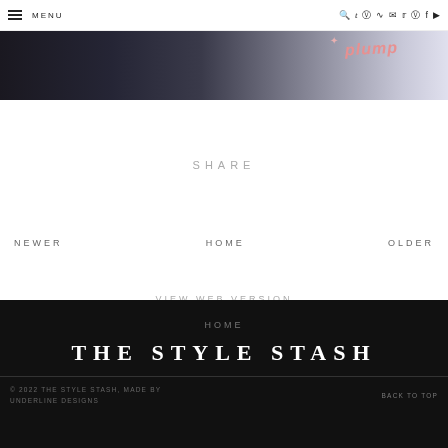MENU
[Figure (photo): Partial view of a dark background image with pink text reading 'PLUMP' and a star decoration]
SHARE
NEWER
HOME
OLDER
VIEW WEB VERSION
HOME
THE STYLE STASH
© 2022 THE STYLE STASH, MADE BY UNDERLINE DESIGNS
BACK TO TOP